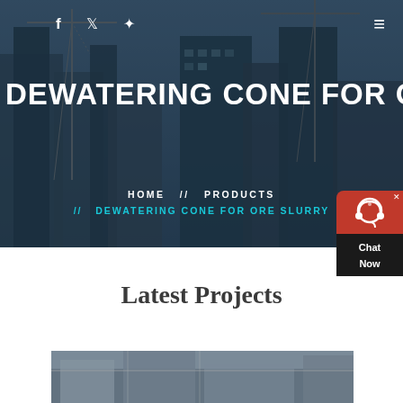[Figure (photo): Dark hero banner with construction cranes and city buildings in background, with dark overlay]
f  🐦  ✦  ≡
DEWATERING CONE FOR ORE SL
HOME  //  PRODUCTS  //  DEWATERING CONE FOR ORE SLURRY
[Figure (other): Chat Now customer support widget in red and dark colors]
Latest Projects
[Figure (photo): Industrial facility or construction project photo at bottom of page]